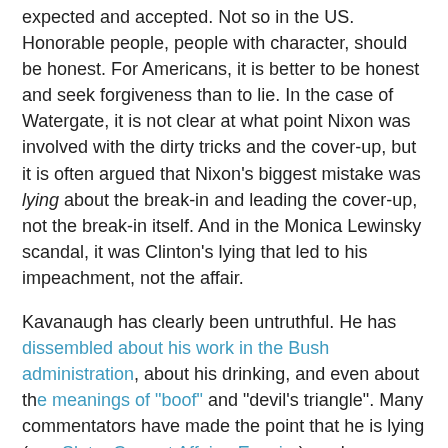expected and accepted. Not so in the US. Honorable people, people with character, should be honest. For Americans, it is better to be honest and seek forgiveness than to lie. In the case of Watergate, it is not clear at what point Nixon was involved with the dirty tricks and the cover-up, but it is often argued that Nixon's biggest mistake was lying about the break-in and leading the cover-up, not the break-in itself. And in the Monica Lewinsky scandal, it was Clinton's lying that led to his impeachment, not the affair.
Kavanaugh has clearly been untruthful. He has dissembled about his work in the Bush administration, about his drinking, and even about the meanings of "boof" and "devil's triangle". Many commentators have made the point that he is lying (see Slate, Current Affairs, Esquire), and a sociologist who studies class in American argues that people like Kavanaugh, who go to private prep schools and Ivy League universities, are told they are special so come to believe that rules and laws do not apply to them, and that they are lying for the greater good of the nation (see here).
Today, on the Monday after the Thursday testimony, it is not